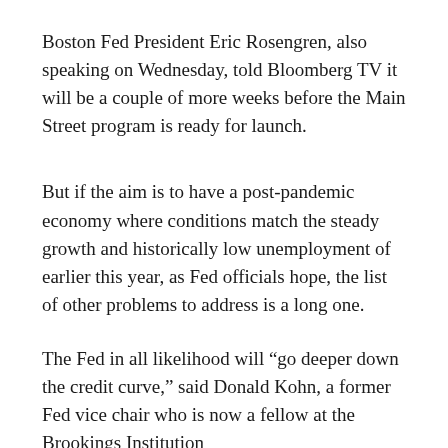Boston Fed President Eric Rosengren, also speaking on Wednesday, told Bloomberg TV it will be a couple of more weeks before the Main Street program is ready for launch.
But if the aim is to have a post-pandemic economy where conditions match the steady growth and historically low unemployment of earlier this year, as Fed officials hope, the list of other problems to address is a long one.
The Fed in all likelihood will “go deeper down the credit curve,” said Donald Kohn, a former Fed vice chair who is now a fellow at the Brookings Institution